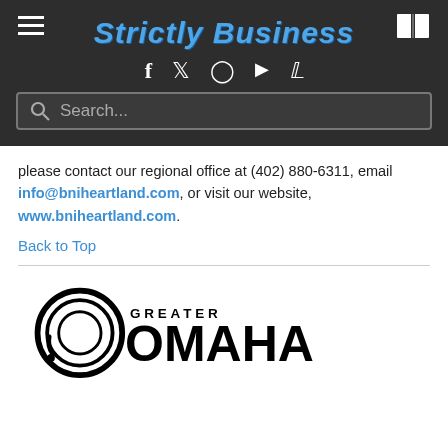Strictly Business
please contact our regional office at (402) 880-6311, email info@bniheartland.com, or visit our website, www.bniheartland.com.
Back to Top
[Figure (logo): Greater Omaha Chamber logo - circular concentric rings icon with text GREATER OMAHA and CHAMBER]